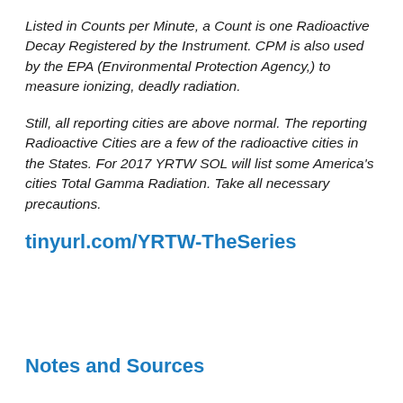Listed in Counts per Minute, a Count is one Radioactive Decay Registered by the Instrument. CPM is also used by the EPA (Environmental Protection Agency,) to measure ionizing, deadly radiation.
Still, all reporting cities are above normal. The reporting Radioactive Cities are a few of the radioactive cities in the States. For 2017 YRTW SOL will list some America's cities Total Gamma Radiation. Take all necessary precautions.
tinyurl.com/YRTW-TheSeries
Notes and Sources